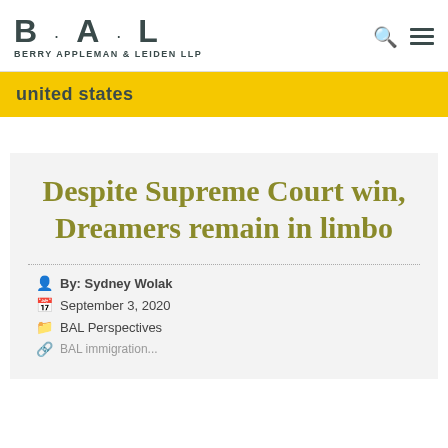B·A·L BERRY APPLEMAN & LEIDEN LLP
united states
Despite Supreme Court win, Dreamers remain in limbo
By: Sydney Wolak
September 3, 2020
BAL Perspectives